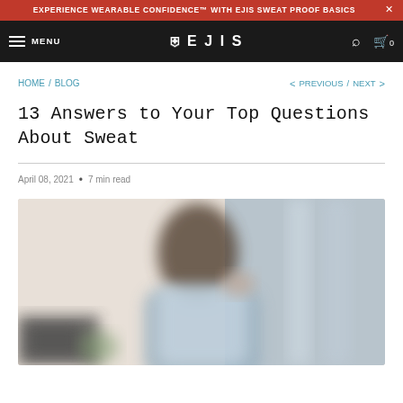EXPERIENCE WEARABLE CONFIDENCE™ WITH EJIS SWEAT PROOF BASICS
MENU  EJIS  0
HOME / BLOG    < PREVIOUS / NEXT >
13 Answers to Your Top Questions About Sweat
April 08, 2021  •  7 min read
[Figure (photo): Blurred photo of a bearded man in a light blue shirt, appearing to be in an office or modern indoor setting, image is intentionally out of focus]